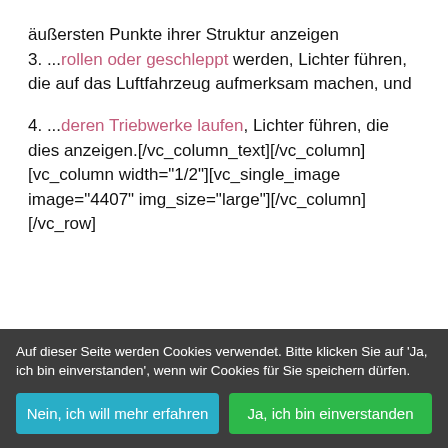äußersten Punkte ihrer Struktur anzeigen
3. ...rollen oder geschleppt werden, Lichter führen, die auf das Luftfahrzeug aufmerksam machen, und
4. ...deren Triebwerke laufen, Lichter führen, die dies anzeigen.[/vc_column_text][/vc_column][vc_column width="1/2"][vc_single_image image="4407" img_size="large"][/vc_column][/vc_row]
Auf dieser Seite werden Cookies verwendet. Bitte klicken Sie auf 'Ja, ich bin einverstanden', wenn wir Cookies für Sie speichern dürfen.